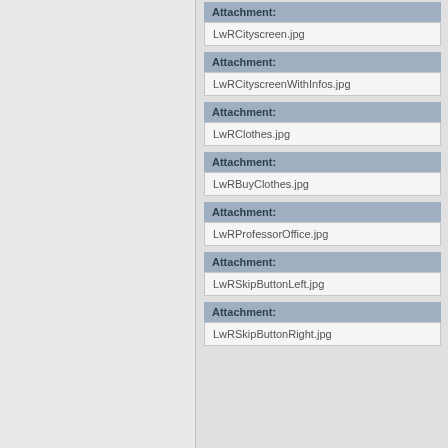Attachment: LwRCityscreen.jpg
Attachment: LwRCityscreenWithInfos.jpg
Attachment: LwRClothes.jpg
Attachment: LwRBuyClothes.jpg
Attachment: LwRProfessorOffice.jpg
Attachment: LwRSkipButtonLeft.jpg
Attachment: LwRSkipButtonRight.jpg